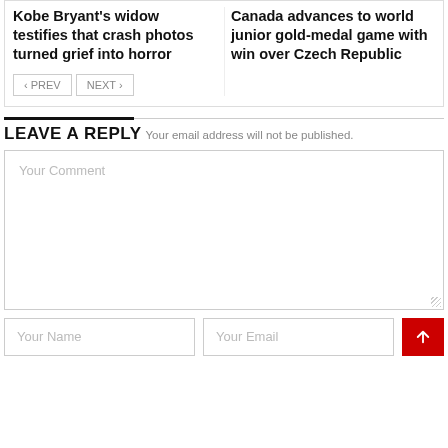Kobe Bryant's widow testifies that crash photos turned grief into horror
Canada advances to world junior gold-medal game with win over Czech Republic
‹ PREV
NEXT ›
LEAVE A REPLY
Your email address will not be published.
Your Comment
Your Name
Your Email